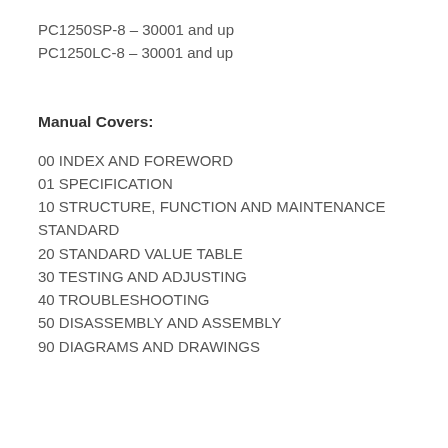PC1250SP-8 – 30001 and up
PC1250LC-8 – 30001 and up
Manual Covers:
00 INDEX AND FOREWORD
01 SPECIFICATION
10 STRUCTURE, FUNCTION AND MAINTENANCE STANDARD
20 STANDARD VALUE TABLE
30 TESTING AND ADJUSTING
40 TROUBLESHOOTING
50 DISASSEMBLY AND ASSEMBLY
90 DIAGRAMS AND DRAWINGS